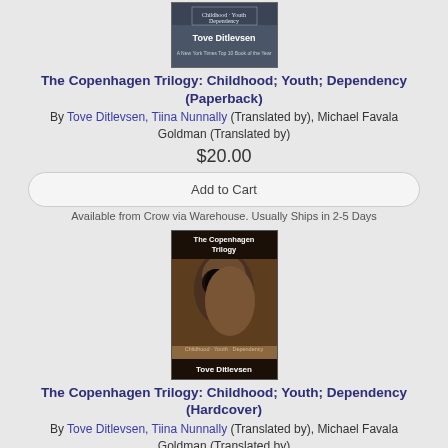[Figure (photo): Book cover of The Copenhagen Trilogy (Paperback) by Tove Ditlevsen — dark background with author name]
The Copenhagen Trilogy: Childhood; Youth; Dependency (Paperback)
By Tove Ditlevsen, Tiina Nunnally (Translated by), Michael Favala Goldman (Translated by)
$20.00
Add to Cart
Available from Crow via Warehouse. Usually Ships in 2-5 Days
[Figure (photo): Book cover of The Copenhagen Trilogy (Hardcover) by Tove Ditlevsen — sepia-toned portrait of two women faces overlapping, text: The Copenhagen Trilogy, Childhood · Youth · Dependency, Tove Ditlevsen]
The Copenhagen Trilogy: Childhood; Youth; Dependency (Hardcover)
By Tove Ditlevsen, Tiina Nunnally (Translated by), Michael Favala Goldman (Translated by)
$30.00
Add to Cart